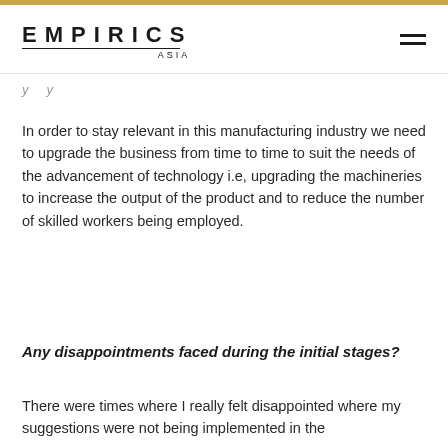EMPIRICS ASIA
In order to stay relevant in this manufacturing industry we need to upgrade the business from time to time to suit the needs of the advancement of technology i.e, upgrading the machineries to increase the output of the product and to reduce the number of skilled workers being employed.
Any disappointments faced during the initial stages?
There were times where I really felt disappointed where my suggestions were not being implemented in the